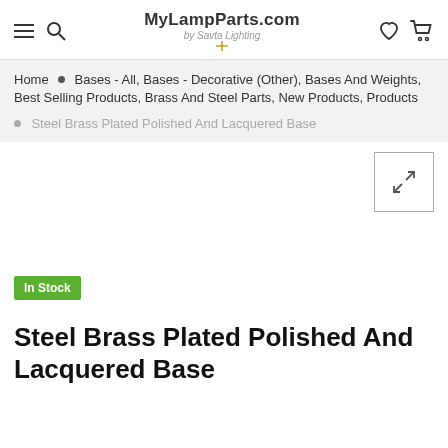MyLampParts.com by Savta Lighting
Home • Bases - All, Bases - Decorative (Other), Bases And Weights, Best Selling Products, Brass And Steel Parts, New Products, Products
Steel Brass Plated Polished And Lacquered Base
[Figure (other): Product image area with expand/fullscreen icon button in top right corner]
In Stock
Steel Brass Plated Polished And Lacquered Base